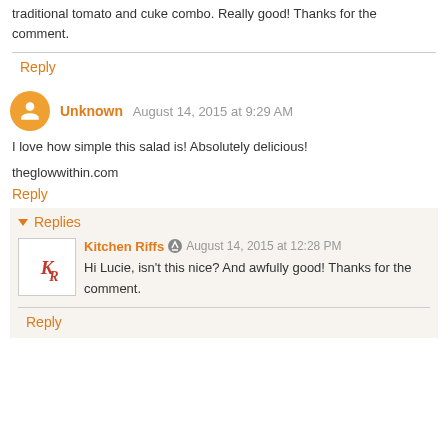traditional tomato and cuke combo. Really good! Thanks for the comment.
Reply
Unknown  August 14, 2015 at 9:29 AM
I love how simple this salad is! Absolutely delicious!
theglowwithin.com
Reply
Replies
Kitchen Riffs  August 14, 2015 at 12:28 PM
Hi Lucie, isn't this nice? And awfully good! Thanks for the comment.
Reply